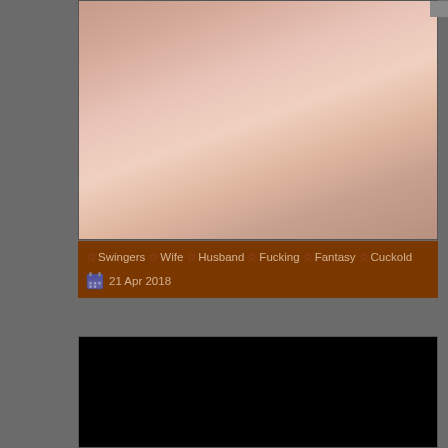[Figure (photo): Close-up blurred photo with warm skin tones, pinkish-tan gradient]
☆ Swingers ☆ Wife ☆ Husband ☆ Fucking ☆ Fantasy ☆ Cuckold
21 Apr 2018
[Figure (photo): Black/dark rectangle - second video thumbnail placeholder]